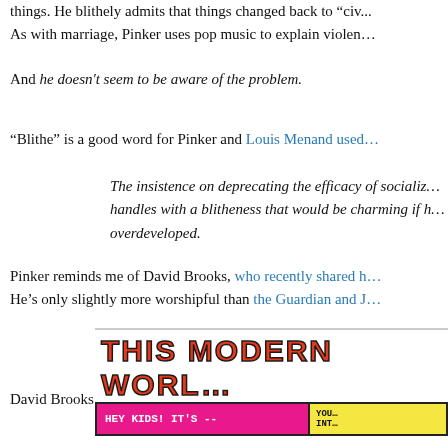things. He blithely admits that things changed back to "civ... As with marriage, Pinker uses pop music to explain violen...
And he doesn't seem to be aware of the problem.
"Blithe" is a good word for Pinker and Louis Menand used...
The insistence on deprecating the efficacy of socializ... handles with a blitheness that would be charming if h... overdeveloped.
Pinker reminds me of David Brooks, who recently shared h... He's only slightly more worshipful than the Guardian and J...
Pinker is a paragon of exactly the kind of intellectual... conversation and community, and the students are m...
David Brooks has long been known as a dumbass, as this...
[Figure (illustration): Comic strip header for 'THIS MODERN WORLD' with red bold stylized text on white background, and a pink box reading 'HEY KIDS! IT'S --' alongside a yellow box with partial text 'YOU... INT...']